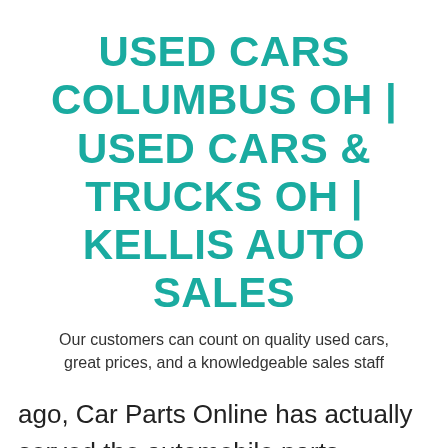USED CARS COLUMBUS OH | USED CARS & TRUCKS OH | KELLIS AUTO SALES
Our customers can count on quality used cars, great prices, and a knowledgeable sales staff
ago, Car Parts Online has actually served the automobile parts demands of numerous motorists, vehicle lovers and also auto